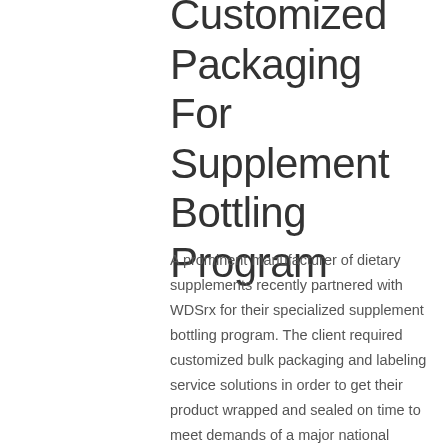Customized Packaging For Supplement Bottling Program
A prominent manufacturer of dietary supplements recently partnered with WDSrx for their specialized supplement bottling program. The client required customized bulk packaging and labeling service solutions in order to get their product wrapped and sealed on time to meet demands of a major national retailer. Multiple logistics services at WDSrx including packaging and labeling go beyond